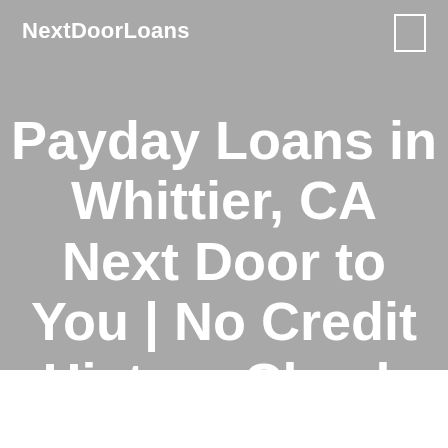NextDoorLoans
Payday Loans in Whittier, CA Next Door to You | No Credit History Check